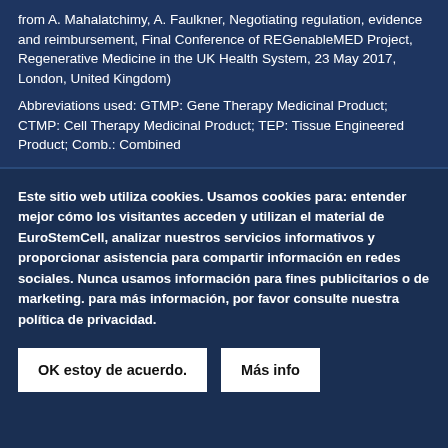from A. Mahalatchimy, A. Faulkner, Negotiating regulation, evidence and reimbursement, Final Conference of REGenableMED Project, Regenerative Medicine in the UK Health System, 23 May 2017, London, United Kingdom) Abbreviations used: GTMP: Gene Therapy Medicinal Product; CTMP: Cell Therapy Medicinal Product; TEP: Tissue Engineered Product; Comb.: Combined
Este sitio web utiliza cookies. Usamos cookies para: entender mejor cómo los visitantes acceden y utilizan el material de EuroStemCell, analizar nuestros servicios informativos y proporcionar asistencia para compartir información en redes sociales. Nunca usamos información para fines publicitarios o de marketing. para más información, por favor consulte nuestra política de privacidad.
OK estoy de acuerdo.
Más info